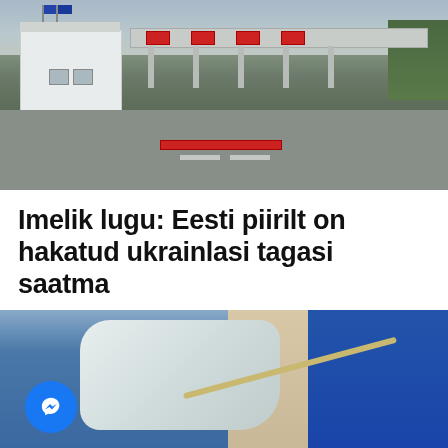[Figure (photo): Border crossing checkpoint with toll gates, a white border control building on the left with flags, road markings, barrier bars across the road, and trees in the background.]
Imelik lugu: Eesti piirilt on hakatud ukrainlasi tagasi saatma
[Figure (photo): Close-up of a person in a blue medical suit and white gloves holding a medical tube or catheter. A Facebook Messenger button overlay is visible in the bottom left corner.]